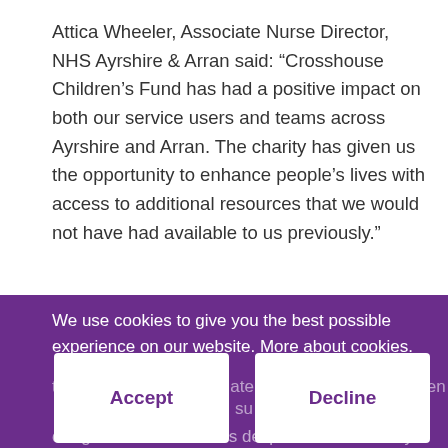Attica Wheeler, Associate Nurse Director, NHS Ayrshire & Arran said: “Crosshouse Children’s Fund has had a positive impact on both our service users and teams across Ayrshire and Arran. The charity has given us the opportunity to enhance people’s lives with access to additional resources that we would not have had available to us previously.”
We use cookies to give you the best possible experience on our website. More about cookies.
the teams at Ayrshire Maternity Unit, who have been su...y...lie...
our good work continues despite the uncertainty